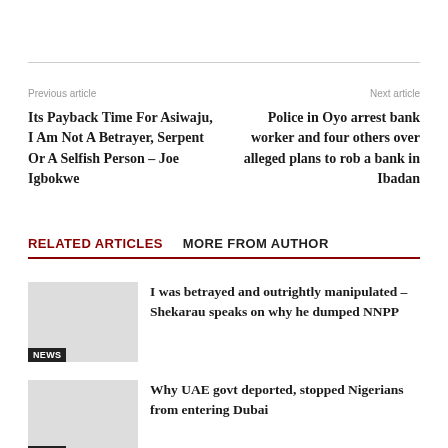Previous article
Next article
Its Payback Time For Asiwaju, I Am Not A Betrayer, Serpent Or A Selfish Person – Joe Igbokwe
Police in Oyo arrest bank worker and four others over alleged plans to rob a bank in Ibadan
RELATED ARTICLES   MORE FROM AUTHOR
I was betrayed and outrightly manipulated – Shekarau speaks on why he dumped NNPP
NEWS
Why UAE govt deported, stopped Nigerians from entering Dubai
NEWS